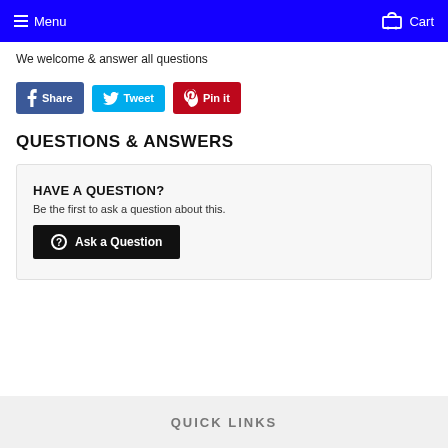Menu  Cart
We welcome & answer all questions
[Figure (other): Social sharing buttons: Share (Facebook), Tweet (Twitter), Pin it (Pinterest)]
QUESTIONS & ANSWERS
HAVE A QUESTION?
Be the first to ask a question about this.
Ask a Question
QUICK LINKS